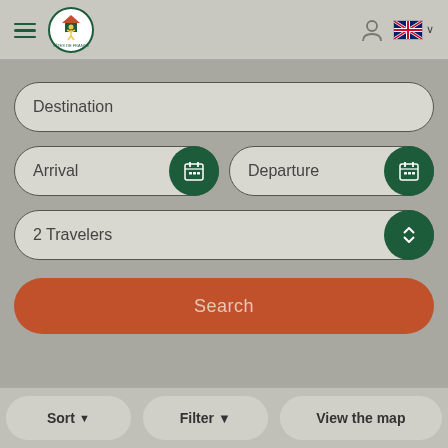[Figure (screenshot): Gites de France website header with hamburger menu, logo, person icon, and UK flag language selector]
Destination
Arrival
Departure
2 Travelers
Search
Sort
Filter
View the map